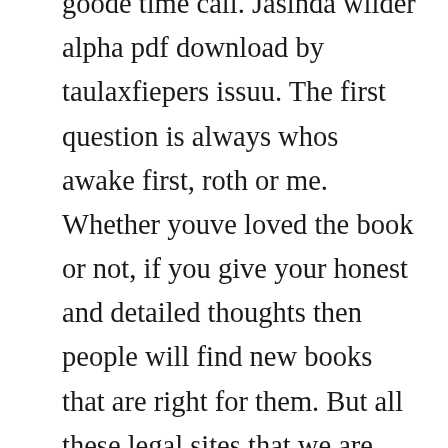goode time call. Jasinda wilder alpha pdf download by taulaxfiepers issuu. The first question is always whos awake first, roth or me. Whether youve loved the book or not, if you give your honest and detailed thoughts then people will find new books that are right for them. But all these legal sites that we are going to introduce to you can download free epub ebooks. When you make an enemy of a man like vitaly karahalios, there is nowhere on earth you can go. Jasinda wilder sex with tre was supposed to be a distraction from my